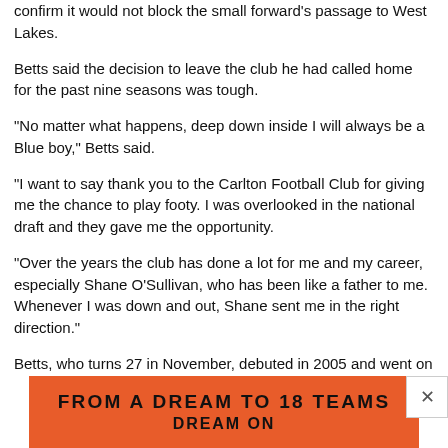confirm it would not block the small forward's passage to West Lakes.
Betts said the decision to leave the club he had called home for the past nine seasons was tough.
"No matter what happens, deep down inside I will always be a Blue boy," Betts said.
"I want to say thank you to the Carlton Football Club for giving me the chance to play footy. I was overlooked in the national draft and they gave me the opportunity.
"Over the years the club has done a lot for me and my career, especially Shane O'Sullivan, who has been like a father to me. Whenever I was down and out, Shane sent me in the right direction."
Betts, who turns 27 in November, debuted in 2005 and went on to play 184 games for the Blues and kick 290 goals.
[Figure (other): Orange advertisement banner reading 'FROM A DREAM TO 18 TEAMS' and 'DREAM ON' with a close button (X) in the top right corner.]